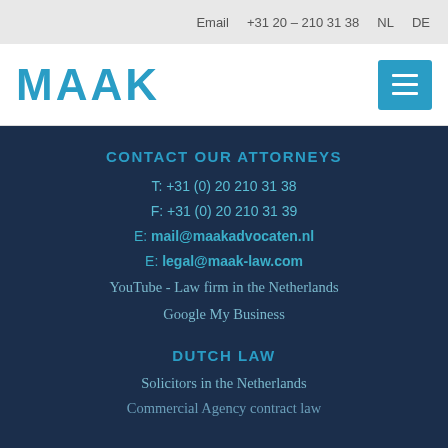Email  +31 20 – 210 31 38  NL  DE
[Figure (logo): MAAK law firm logo in blue stylized text]
CONTACT OUR ATTORNEYS
T: +31 (0) 20 210 31 38
F: +31 (0) 20 210 31 39
E: mail@maakadvocaten.nl
E: legal@maak-law.com
YouTube - Law firm in the Netherlands
Google My Business
DUTCH LAW
Solicitors in the Netherlands
Commercial Agency contract law